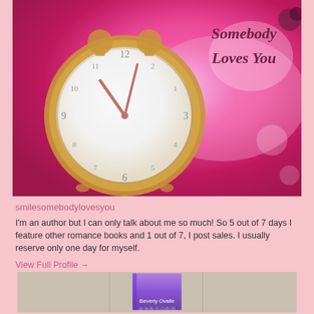[Figure (photo): Book cover photo showing a gold alarm clock on a pink/magenta sparkly background with the text 'Somebody Loves You' in dark script]
smilesomebodylovesyou
I'm an author but I can only talk about me so much! So 5 out of 7 days I feature other romance books and 1 out of 7, I post sales. I usually reserve only one day for myself.
View Full Profile →
[Figure (photo): Book displayed on a wood plank background, showing a book with 'Beverly Ovalle' as the author name at the bottom of the cover]